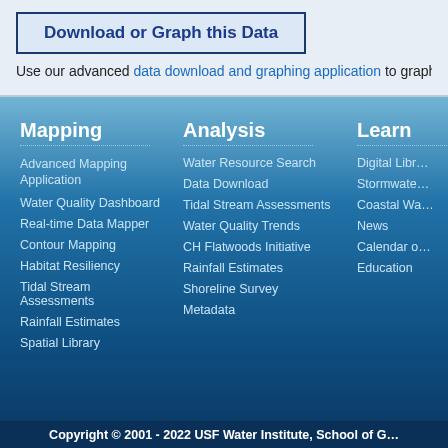Download or Graph this Data
Use our advanced data download and graphing application to graph
Mapping
Advanced Mapping Application
Water Quality Dashboard
Real-time Data Mapper
Contour Mapping
Habitat Resiliency
Tidal Stream Assessments
Rainfall Estimates
Spatial Library
Analysis
Water Resource Search
Data Download
Tidal Stream Assessments
Water Quality Trends
CH Flatwoods Initiative
Rainfall Estimates
Shoreline Survey
Metadata
Learn
Digital Libr…
Stormwate…
Coastal Wa…
News
Calendar o…
Education
Copyright © 2001 - 2022 USF Water Institute, School of G…